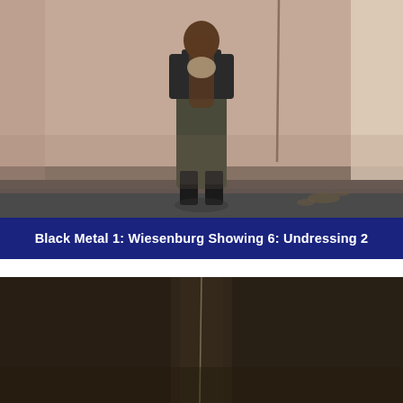[Figure (photo): A person standing in a room with a pinkish-beige wall, wearing dark pants and black boots, with their face obscured by long hair. A rope hangs from above on the right side. Some debris on the dark floor.]
Black Metal 1: Wiesenburg Showing 6: Undressing 2
[Figure (photo): A dark, dimly lit room or space with a thin vertical line (possibly a rope or wire) descending from the top center. The image is mostly dark brown/grey tones.]